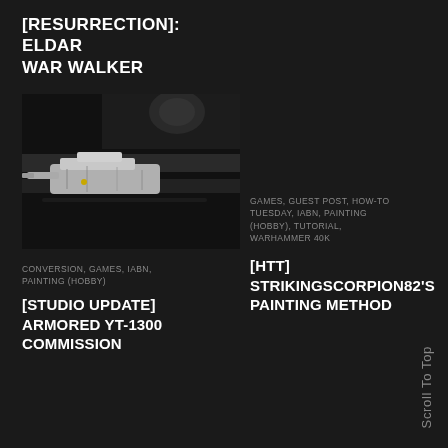[RESURRECTION]: ELDAR WAR WALKER
[Figure (photo): Close-up photograph of a painted miniature model — an Eldar War Walker — on a dark surface, showing metallic and grey detail work]
CONVERSION, GAMES, IABN, PAINTING (HOBBY)
[STUDIO UPDATE] ARMORED YT-1300 COMMISSION
GAMES, GUEST POST, HOW-TO TUESDAY, IABN, PAINTING (HOBBY), TUTORIAL, WARHAMMER 40K
[HTT] STRIKINGSCORPION82'S PAINTING METHOD
Scroll To Top